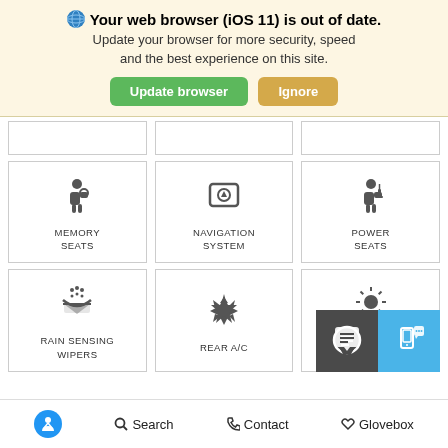Your web browser (iOS 11) is out of date. Update your browser for more security, speed and the best experience on this site. [Update browser] [Ignore]
[Figure (infographic): Feature grid showing car features: Memory Seats, Navigation System, Power Seats, Rain Sensing Wipers, Rear A/C, Sunroof/Moonroof with icons]
Accessibility Search Contact Glovebox